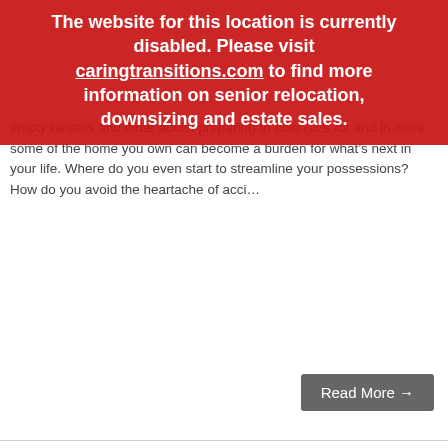The website for this location is currently disabled. Please visit caringtransitions.com to find more information on senior relocation, downsizing and estate sales.
empty nesters and older adults preparing to downsize for and in more some of the home you own can become a burden for what's next in your life. Where do you even start to streamline your possessions? How do you avoid the heartache of acci...
Read More →
Tagged: Downsizing, Moving, Senior Relocation, Decluttering
[Figure (infographic): Social media share icons: Facebook, Twitter, LinkedIn, Email]
Downsizing & Dementia: Decluttering During COVID-19
Posted by Diane Vezzuto on February 22, 2021 at 1:00 PM